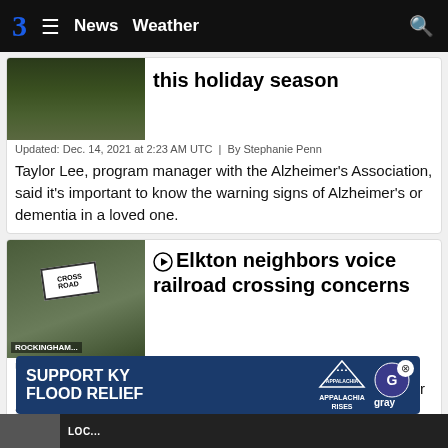3  ≡  News  Weather  🔍
this holiday season
Updated: Dec. 14, 2021 at 2:23 AM UTC  |  By Stephanie Penn
Taylor Lee, program manager with the Alzheimer's Association, said it's important to know the warning signs of Alzheimer's or dementia in a loved one.
Elkton neighbors voice railroad crossing concerns
Updated: Dec. 3, 2021 at 4:21 AM UTC  |  By Stephanie Penn
In the Town of Elkton, there are 26 homes that sit on the other side of a railroad track along Park Way. Residents say sometimes the train blocks the only entrance in and out.
[Figure (other): Ad banner: SUPPORT KY FLOOD RELIEF with Appalachia Rises and gray logos]